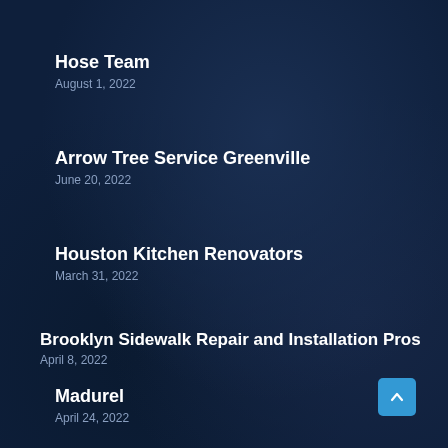Hose Team
August 1, 2022
Arrow Tree Service Greenville
June 20, 2022
Houston Kitchen Renovators
March 31, 2022
Brooklyn Sidewalk Repair and Installation Pros
April 8, 2022
Madurel
April 24, 2022